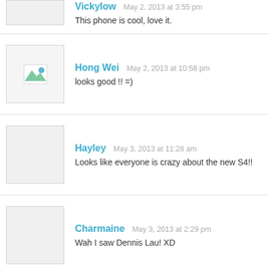This phone is cool, love it.
Hong Wei  May 2, 2013 at 10:58 pm
looks good !! =)
Hayley  May 3, 2013 at 11:28 am
Looks like everyone is crazy about the new S4!!
Charmaine  May 3, 2013 at 2:29 pm
Wah I saw Dennis Lau! XD